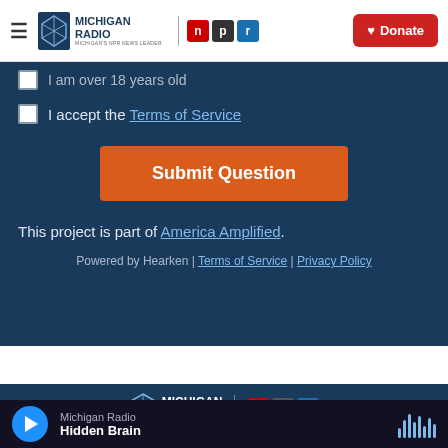Michigan Radio | NPR | Donate
I am over 18 years old
I accept the Terms of Service
Submit Question
This project is part of America Amplified.
Powered by Hearken | Terms of Service | Privacy Policy
[Figure (logo): Michigan Radio NPR logo on dark blue background]
Political coverage that
Michigan Radio | Hidden Brain